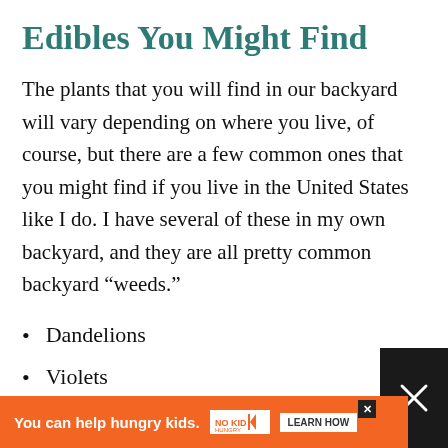Edibles You Might Find
The plants that you will find in our backyard will vary depending on where you live, of course, but there are a few common ones that you might find if you live in the United States like I do. I have several of these in my own backyard, and they are all pretty common backyard “weeds.”
Dandelions
Violets
Plantain
[Figure (infographic): Ad banner: orange background with white text 'You can help hungry kids.' with No Kid Hungry logo and 'LEARN HOW' button]